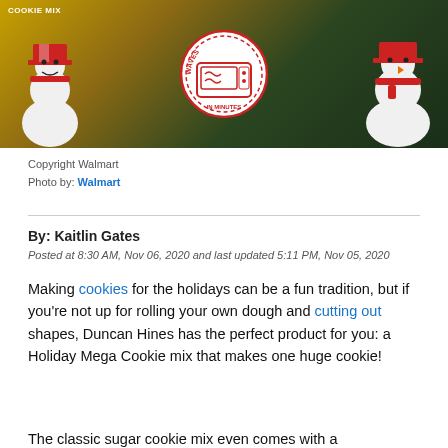[Figure (photo): Product photo of Duncan Hines Holiday Mega Cookie Mix packaging with Christmas snowman decorations and a microwave badge, on a dark background with cookies]
Copyright Walmart
Photo by: Walmart
By: Kaitlin Gates
Posted at 8:30 AM, Nov 06, 2020 and last updated 5:11 PM, Nov 05, 2020
Making cookies for the holidays can be a fun tradition, but if you're not up for rolling your own dough and cutting out shapes, Duncan Hines has the perfect product for you: a Holiday Mega Cookie mix that makes one huge cookie!
The classic sugar cookie mix even comes with a